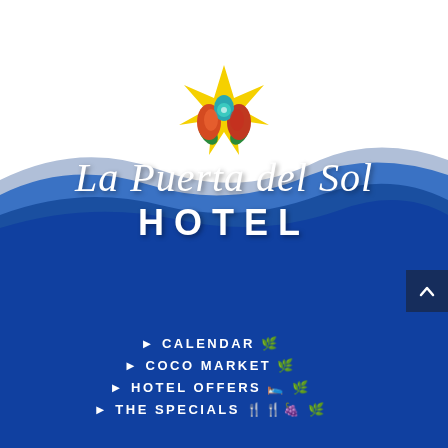[Figure (logo): La Puerta del Sol Hotel logo with a colorful sunburst/floral emblem above stylized script text 'La Puerta del Sol' and bold uppercase 'HOTEL', on a blue wave background]
CALENDAR
COCO MARKET
HOTEL OFFERS
THE SPECIALS